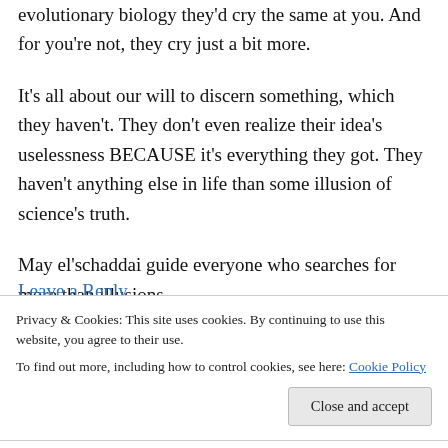evolutionary biology they'd cry the same at you. And for you're not, they cry just a bit more.
It's all about our will to discern something, which they haven't. They don't even realize their idea's uselessness BECAUSE it's everything they got. They haven't anything else in life than some illusion of science's truth.
May el'schaddai guide everyone who searches for more than illusions
Privacy & Cookies: This site uses cookies. By continuing to use this website, you agree to their use.
To find out more, including how to control cookies, see here: Cookie Policy
Close and accept
… would need to be a TRIPLE PhD biologist